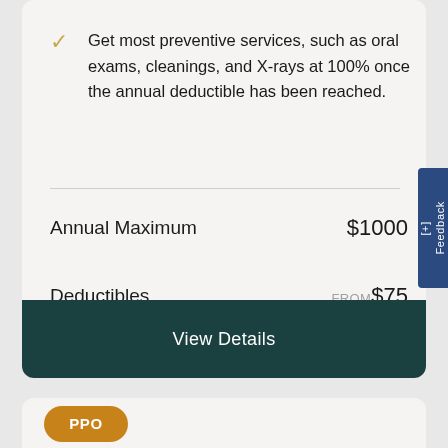Get most preventive services, such as oral exams, cleanings, and X-rays at 100% once the annual deductible has been reached.
|  |  |
| --- | --- |
| Annual Maximum | $1000 |
| Deductibles | FROM $75 |
View Details
PPO